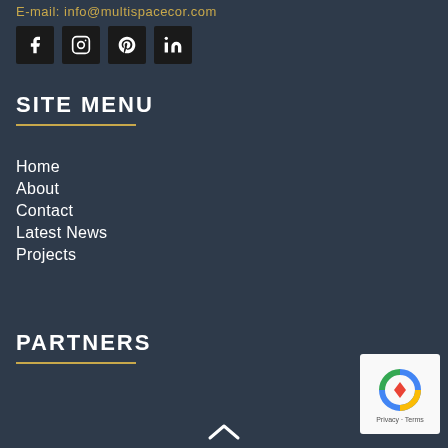E-mail: info@multispacecor.com
[Figure (other): Social media icons: Facebook, Instagram, Pinterest, LinkedIn]
SITE MENU
Home
About
Contact
Latest News
Projects
PARTNERS
[Figure (other): reCAPTCHA badge with Privacy and Terms links]